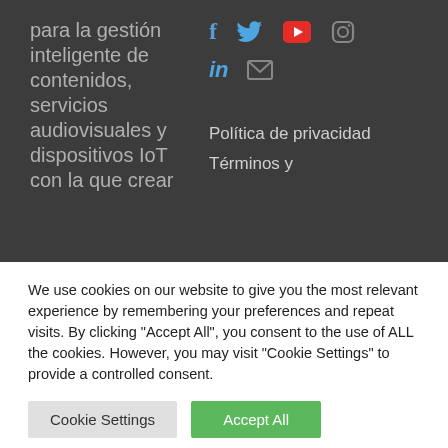para la gestión inteligente de contenidos, servicios audiovisuales y dispositivos IoT con la que crear
[Figure (infographic): Social media icons row 1: Facebook (f), Twitter (bird), YouTube (red play button), Instagram (camera outline); row 2: LinkedIn (in), Email (envelope)]
Política de privacidad
Términos y
We use cookies on our website to give you the most relevant experience by remembering your preferences and repeat visits. By clicking "Accept All", you consent to the use of ALL the cookies. However, you may visit "Cookie Settings" to provide a controlled consent.
Cookie Settings
Accept All